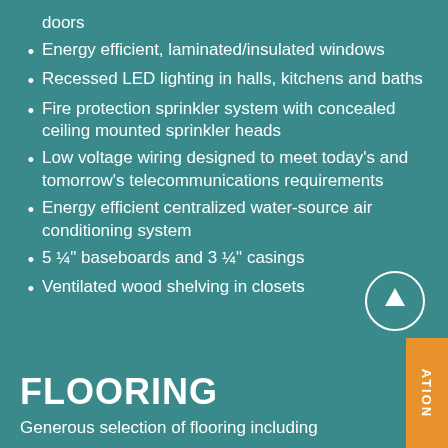doors
Energy efficient, laminated/insulated windows
Recessed LED lighting in halls, kitchens and baths
Fire protection sprinkler system with concealed ceiling mounted sprinkler heads
Low voltage wiring designed to meet today's and tomorrow's telecommunications requirements
Energy efficient centralized water-source air conditioning system
5 ¼" baseboards and 3 ¼" casings
Ventilated wood shelving in closets
FLOORING
Generous selection of flooring including